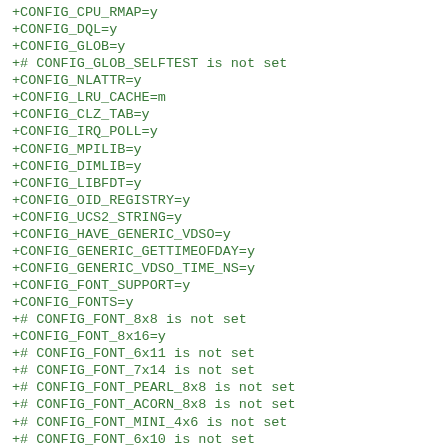+CONFIG_CPU_RMAP=y
+CONFIG_DQL=y
+CONFIG_GLOB=y
+# CONFIG_GLOB_SELFTEST is not set
+CONFIG_NLATTR=y
+CONFIG_LRU_CACHE=m
+CONFIG_CLZ_TAB=y
+CONFIG_IRQ_POLL=y
+CONFIG_MPILIB=y
+CONFIG_DIMLIB=y
+CONFIG_LIBFDT=y
+CONFIG_OID_REGISTRY=y
+CONFIG_UCS2_STRING=y
+CONFIG_HAVE_GENERIC_VDSO=y
+CONFIG_GENERIC_GETTIMEOFDAY=y
+CONFIG_GENERIC_VDSO_TIME_NS=y
+CONFIG_FONT_SUPPORT=y
+CONFIG_FONTS=y
+# CONFIG_FONT_8x8 is not set
+CONFIG_FONT_8x16=y
+# CONFIG_FONT_6x11 is not set
+# CONFIG_FONT_7x14 is not set
+# CONFIG_FONT_PEARL_8x8 is not set
+# CONFIG_FONT_ACORN_8x8 is not set
+# CONFIG_FONT_MINI_4x6 is not set
+# CONFIG_FONT_6x10 is not set
+# CONFIG_FONT_10x18 is not set
+# CONFIG_FONT_SUN8x16 is not set
+# CONFIG_FONT_SUN12x22 is not set
+# CONFIG_FONT_TER16x32 is not set